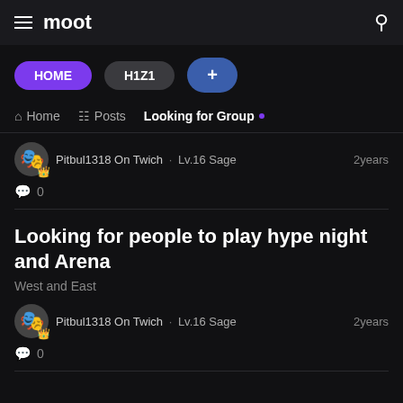moot
HOME
H1Z1
+
Home  Posts  Looking for Group
Pitbul1318 On Twich · Lv.16  Sage  2years  💬 0
Looking for people to play hype night and Arena
West and East
Pitbul1318 On Twich · Lv.16  Sage  2years  💬 0